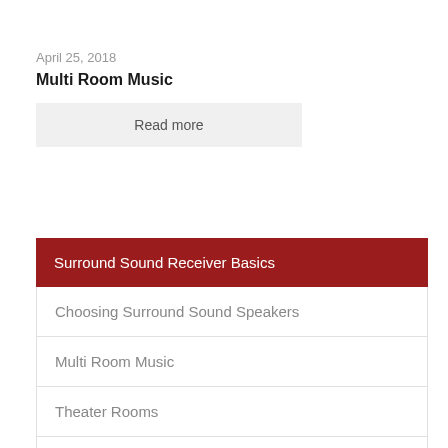April 25, 2018
Multi Room Music
Read more
Surround Sound Receiver Basics
Choosing Surround Sound Speakers
Multi Room Music
Theater Rooms
Home Automation